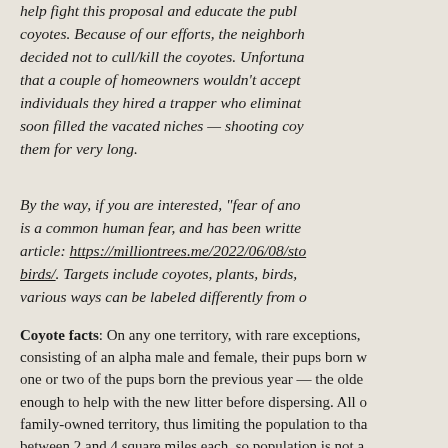help fight this proposal and educate the public about coyotes. Because of our efforts, the neighborhood decided not to cull/kill the coyotes. Unfortunately that a couple of homeowners wouldn't accept the individuals they hired a trapper who eliminated them, soon filled the vacated niches — shooting coyotes doesn't rid them for very long.
By the way, if you are interested, "fear of another" is a common human fear, and has been written about in this article: https://milliontrees.me/2022/06/08/sto...birds/. Targets include coyotes, plants, birds, and various ways can be labeled differently from others.
Coyote facts: On any one territory, with rare exceptions, consisting of an alpha male and female, their pups born with one or two of the pups born the previous year — the older enough to help with the new litter before dispersing. All of family-owned territory, thus limiting the population to that between 2 and 4 square miles each, so population is not a inevitably and eventually disperse, leaving the two alphas territory over a longer period of time.